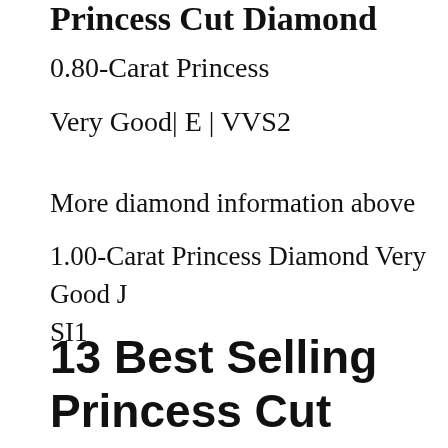Princess Cut Diamond
0.80-Carat Princess
Very Good| E | VVS2
More diamond information above
1.00-Carat Princess Diamond Very Good J SI1
13 Best Selling Princess Cut Diamond